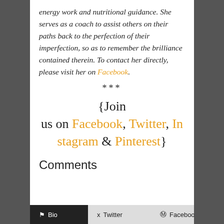energy work and nutritional guidance. She serves as a coach to assist others on their paths back to the perfection of their imperfection, so as to remember the brilliance contained therein. To contact her directly, please visit her on Facebook.
***
{Join us on Facebook, Twitter, Instagram & Pinterest}
Comments
Bio  Twitter  Facebook